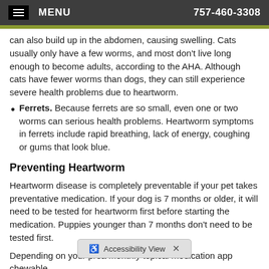MENU   757-460-3308
can also build up in the abdomen, causing swelling. Cats usually only have a few worms, and most don't live long enough to become adults, according to the AHA. Although cats have fewer worms than dogs, they can still experience severe health problems due to heartworm.
Ferrets. Because ferrets are so small, even one or two worms can serious health problems. Heartworm symptoms in ferrets include rapid breathing, lack of energy, coughing or gums that look blue.
Preventing Heartworm
Heartworm disease is completely preventable if your pet takes preventative medication. If your dog is 7 months or older, it will need to be tested for heartworm first before starting the medication. Puppies younger than 7 months don't need to be tested first.
Depending on your pre... a monthly topical medication app... chewable